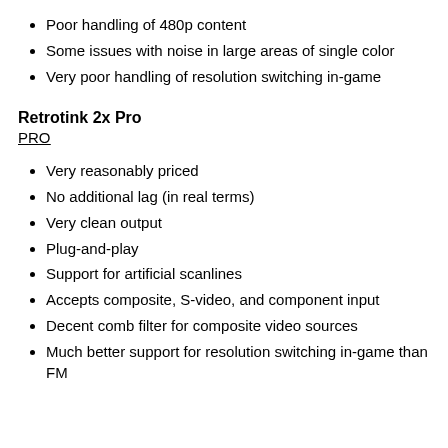Poor handling of 480p content
Some issues with noise in large areas of single color
Very poor handling of resolution switching in-game
Retrotink 2x Pro
PRO
Very reasonably priced
No additional lag (in real terms)
Very clean output
Plug-and-play
Support for artificial scanlines
Accepts composite, S-video, and component input
Decent comb filter for composite video sources
Much better support for resolution switching in-game than FM